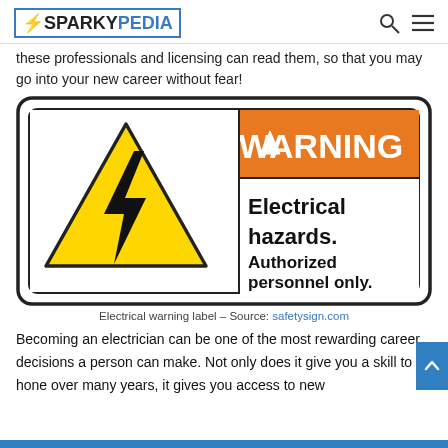SPARKYPEDIA
these professionals and licensing can read them, so that you may go into your new career without fear!
[Figure (illustration): Electrical warning label sign with yellow triangle containing black lightning bolt on left side, and orange WARNING header with black text reading 'Electrical hazards. Authorized personnel only.' on right side]
Electrical warning label – Source: safetysign.com
Becoming an electrician can be one of the most rewarding career decisions a person can make. Not only does it give you a skill to hone over many years, it gives you access to new